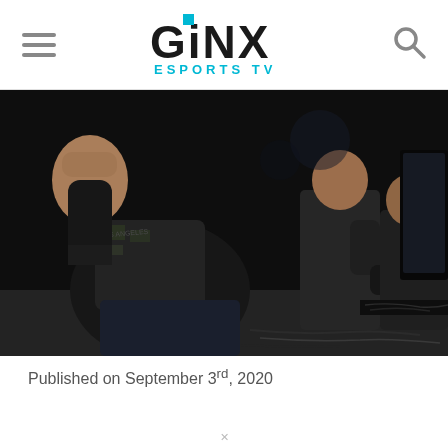GINX ESPORTS TV
[Figure (photo): Esports players seated at gaming stations, one player raising a fist in celebration, holding a game controller, gaming peripherals and cables visible on the desk.]
Published on September 3rd, 2020